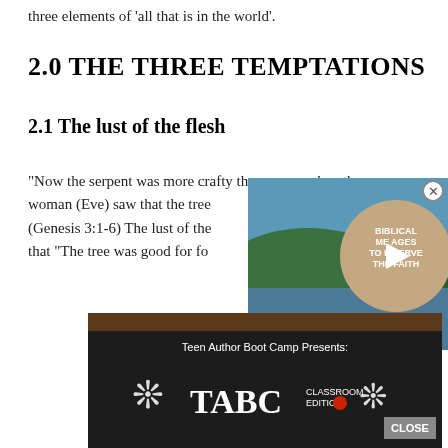three elements of 'all that is in the world'.
2.0 THE THREE TEMPTATIONS
2.1 The lust of the flesh
“Now the serpent was more crafty than any… when the woman (Eve) saw that the tree (Genesis 3:1-6) The lust of the that “The tree was good for fo
[Figure (screenshot): Advertisement overlay: top portion shows a video thumbnail of a lake/landscape with a circular beige button showing 'BIBLICAL MESSAGES TO PRESERVE THE FAITH' with a play icon, and 'etopia' branding. Bottom portion shows a dark ad for 'Teen Author Boot Camp Presents: TABC CLASSROOM EDITION' with splash graphic and a CLOSE button.]